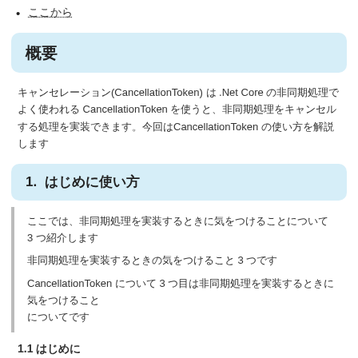ここから
概要
キャンセレーション(CancellationToken) は .Net Core の非同期処理でよく使われるCancellationToken を使うと、非同期処理をキャンセルする処理を実装できます。今回はCancellationToken の使い方を解説します
1.  はじめに使い方
ここでは、非同期処理を実装するときに気をつけることについて 3 つ紹介します
非同期処理を実装するときの気をつけること 3 つです
CancellationToken について 3 つ目は非同期処理を実装するときに気をつけること
についてです
1.1 はじめに